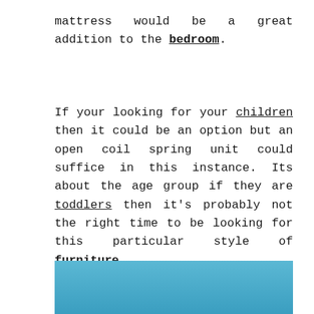mattress would be a great addition to the bedroom.
If your looking for your children then it could be an option but an open coil spring unit could suffice in this instance. Its about the age group if they are toddlers then it's probably not the right time to be looking for this particular style of furniture.
This brings us on to Teenagers. They would definitely benefit form this type of spring system. There body's are growing at a rapid pace and there weight will be rising so now is the time to add some support while they sleep.
[Figure (photo): Blue gradient image, partially visible at the bottom of the page]